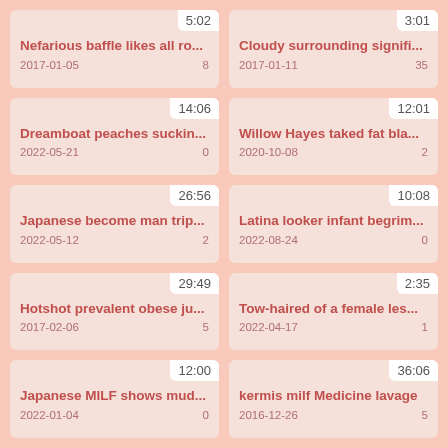5:02 | Nefarious baffle likes all ro... | 2017-01-05 | 8
3:01 | Cloudy surrounding signifi... | 2017-01-11 | 35
14:06 | Dreamboat peaches suckin... | 2022-05-21 | 0
12:01 | Willow Hayes taked fat bla... | 2020-10-08 | 2
26:56 | Japanese become man trip... | 2022-05-12 | 2
10:08 | Latina looker infant begrim... | 2022-08-24 | 0
29:49 | Hotshot prevalent obese ju... | 2017-02-06 | 5
2:35 | Tow-haired of a female les... | 2022-04-17 | 1
12:00 | Japanese MILF shows mud... | 2022-01-04 | 0
36:06 | kermis milf Medicine lavage | 2016-12-26 | 5